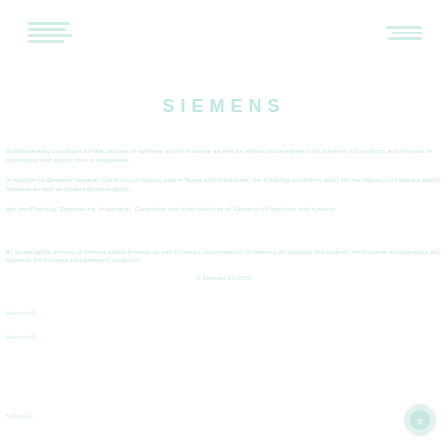[Figure (logo): Siemens logo lines top left]
[Figure (logo): Lines top right]
SIEMENS
Supplementary conditions for the delivery of software and/or firmware as well as related documentation for Siemens AG products and systems in connection with export control regulations
In addition to Siemens' General Conditions of Supply and/or Terms and Conditions, the following conditions apply for the delivery of software and/or firmware as well as related documentation.
and the Planning, Engineering, Integration, Consulting and other Services of Siemens AG products and systems.
By accepting the delivery of software and/or firmware as well as related documentation for Siemens AG products and systems, the customer acknowledges and agrees to the following supplementary conditions.
© Siemens AG 2020
Siemens AG
Siemens AG
[Figure (logo): Siemens circle logo bottom right]